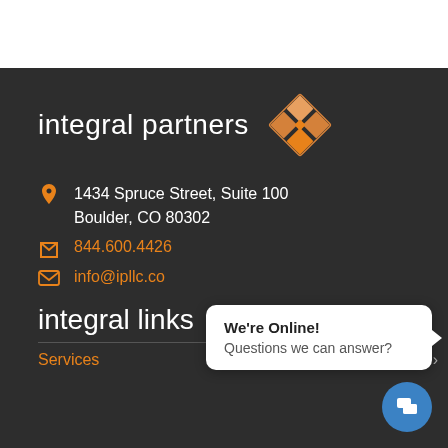[Figure (logo): Integral Partners logo with geometric orange diamond/square icon and white text 'integral partners']
1434 Spruce Street, Suite 100
Boulder, CO 80302
844.600.4426
info@ipllc.co
integral links
Services
[Figure (screenshot): Chat widget popup saying 'We're Online! Questions we can answer?' with blue chat button]